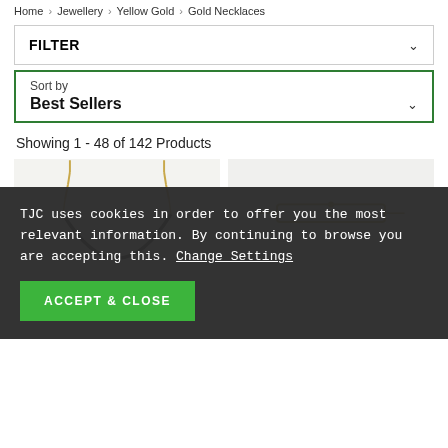Home > Jewellery > Yellow Gold > Gold Necklaces
FILTER
Sort by
Best Sellers
Showing 1 - 48 of 142 Products
[Figure (photo): Two product images of gold necklaces with cookie consent overlay. Left: Italian Made One Time Close Out Deal- 9K Yellow Gold necklace. Right: Italian Made- 9K Yellow Gold Spiga Necklace (Size - 24) with cookie banner overlay.]
TJC uses cookies in order to offer you the most relevant information. By continuing to browse you are accepting this. Change Settings
ACCEPT & CLOSE
Italian Made One Time Close Out Deal- 9K Yellow Gold
Italian Made- 9K Yellow Gold Spiga Necklace (Size - 24) with